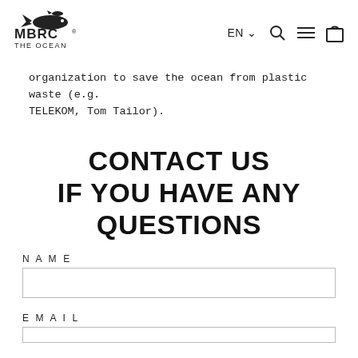MBRC THE OCEAN | EN | search | menu | cart
organization to save the ocean from plastic waste (e.g. TELEKOM, Tom Tailor).
CONTACT US IF YOU HAVE ANY QUESTIONS
NAME
EMAIL